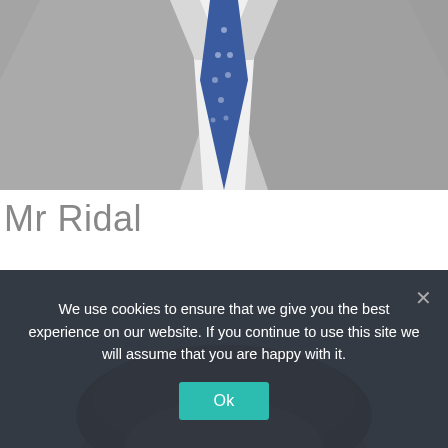[Figure (photo): Cropped photo showing the torso of a person wearing a grey suit jacket, white shirt, and blue dotted tie against a light background.]
Mr Ridal
[Figure (photo): Cropped photo showing the top of a person's head with brown hair, against a light/white background.]
We use cookies to ensure that we give you the best experience on our website. If you continue to use this site we will assume that you are happy with it.